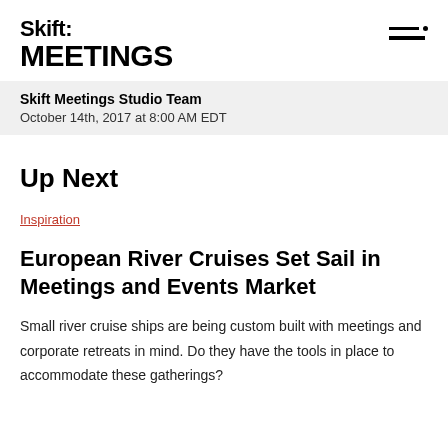Skift MEETINGS
Skift Meetings Studio Team
October 14th, 2017 at 8:00 AM EDT
Up Next
Inspiration
European River Cruises Set Sail in Meetings and Events Market
Small river cruise ships are being custom built with meetings and corporate retreats in mind. Do they have the tools in place to accommodate these gatherings?